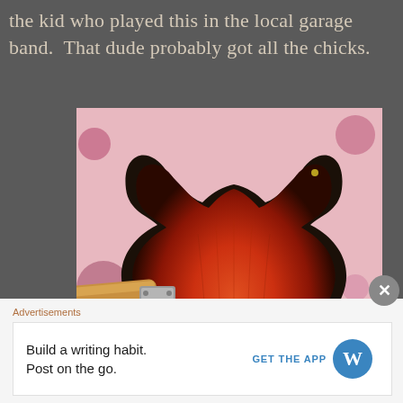the kid who played this in the local garage band. That dude probably got all the chicks.
[Figure (photo): Back view of a vintage electric guitar with red sunburst finish and dark edges, gold hardware detail, maple neck with metal neck plate, resting on a pink polka-dot fabric surface]
Advertisements
Build a writing habit. Post on the go.
GET THE APP